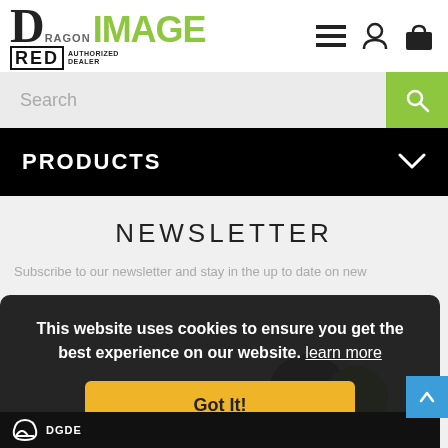[Figure (logo): Dragon Image RED Authorized Dealer logo with navigation icons (hamburger menu, user, shopping bag)]
Search
PRODUCTS
NEWSLETTER
Subscribe to our newsletter and stay in the up to date on new
This website uses cookies to ensure you get the best experience on our website. learn more
Got It!
Your email address